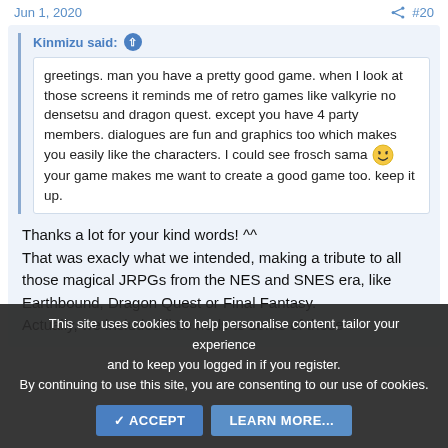Jun 1, 2020   #20
Kinmizu said: ↑
greetings. man you have a pretty good game. when I look at those screens it reminds me of retro games like valkyrie no densetsu and dragon quest. except you have 4 party members. dialogues are fun and graphics too which makes you easily like the characters. I could see frosch sama 😄 your game makes me want to create a good game too. keep it up.
Thanks a lot for your kind words! ^^
That was exacly what we intended, making a tribute to all those magical JRPGs from the NES and SNES era, like Earthbound, Dragon Quest or Final Fantasy.
Actually, we included little nods to some of these
This site uses cookies to help personalise content, tailor your experience and to keep you logged in if you register.
By continuing to use this site, you are consenting to our use of cookies.
✔ ACCEPT   LEARN MORE...